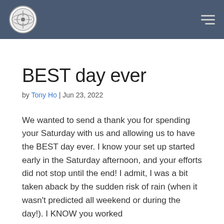BEST day ever
by Tony Ho | Jun 23, 2022
We wanted to send a thank you for spending your Saturday with us and allowing us to have the BEST day ever. I know your set up started early in the Saturday afternoon, and your efforts did not stop until the end! I admit, I was a bit taken aback by the sudden risk of rain (when it wasn't predicted all weekend or during the day!). I KNOW you worked with our coordinator and Daniel the officiant to